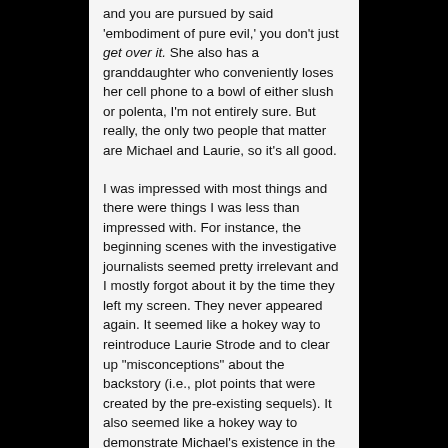and you are pursued by said 'embodiment of pure evil,' you don't just get over it. She also has a granddaughter who conveniently loses her cell phone to a bowl of either slush or polenta, I'm not entirely sure. But really, the only two people that matter are Michael and Laurie, so it's all good.
I was impressed with most things and there were things I was less than impressed with. For instance, the beginning scenes with the investigative journalists seemed pretty irrelevant and I mostly forgot about it by the time they left my screen. They never appeared again. It seemed like a hokey way to reintroduce Laurie Strode and to clear up "misconceptions" about the backstory (i.e., plot points that were created by the pre-existing sequels). It also seemed like a hokey way to demonstrate Michael's existence in the asylum with the "New Loomis" (which is basically what he was). I didn't hate it, but I didn't love it either.
We meet Laurie Strode once again and we find